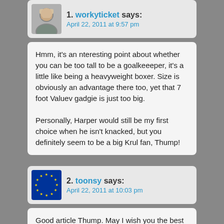1. workyticket says: April 22, 2011 at 9:57 pm
Hmm, it's an nteresting point about whether you can be too tall to be a goalkeeeper, it's a little like being a heavyweight boxer. Size is obviously an advantage there too, yet that 7 foot Valuev gadgie is just too big.

Personally, Harper would still be my first choice when he isn't knacked, but you definitely seem to be a big Krul fan, Thump!
2. toonsy says: April 22, 2011 at 10:03 pm
Good article Thump. May I wish you the best in putting the majority of work in on .org from now on :)